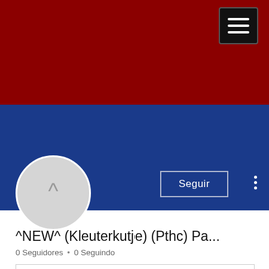[Figure (screenshot): Mobile app profile page screenshot with red banner header, blue sub-banner, hamburger menu button, circular avatar with caret symbol, Follow button, three-dot menu, username truncated as '^NEW^ (Kleuterkutje) (Pthc) Pa...', follower/following stats '0 Seguidores • 0 Seguindo', an info card with chevron, 'Perfil' heading, and blue FAB button with three dots.]
^NEW^ (Kleuterkutje) (Pthc) Pa...
0 Seguidores • 0 Seguindo
Perfil